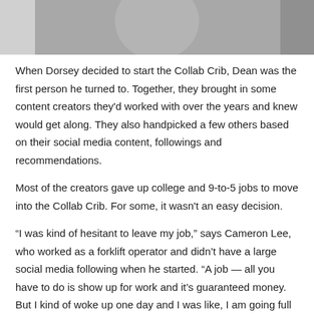[Figure (photo): Partial photo of a person in light-colored clothing, cropped at the top of the page]
When Dorsey decided to start the Collab Crib, Dean was the first person he turned to. Together, they brought in some content creators they'd worked with over the years and knew would get along. They also handpicked a few others based on their social media content, followings and recommendations.
Most of the creators gave up college and 9-to-5 jobs to move into the Collab Crib. For some, it wasn't an easy decision.
“I was kind of hesitant to leave my job,” says Cameron Lee, who worked as a forklift operator and didn’t have a large social media following when he started. “A job — all you have to do is show up for work and it’s guaranteed money. But I kind of woke up one day and I was like, I am going full throttle with this.”
The two youngest members are home-